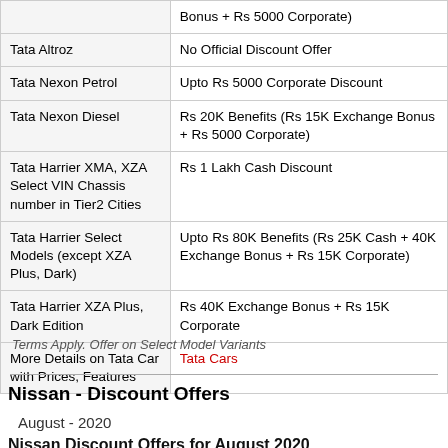| Model | Offer |
| --- | --- |
|  | Bonus + Rs 5000 Corporate) |
| Tata Altroz | No Official Discount Offer |
| Tata Nexon Petrol | Upto Rs 5000 Corporate Discount |
| Tata Nexon Diesel | Rs 20K Benefits (Rs 15K Exchange Bonus + Rs 5000 Corporate) |
| Tata Harrier XMA, XZA Select VIN Chassis number in Tier2 Cities | Rs 1 Lakh Cash Discount |
| Tata Harrier Select Models (except XZA Plus, Dark) | Upto Rs 80K Benefits (Rs 25K Cash + 40K Exchange Bonus + Rs 15K Corporate) |
| Tata Harrier XZA Plus, Dark Edition | Rs 40K Exchange Bonus + Rs 15K Corporate |
| More Details on Tata Car with Prices, Features | Tata Cars |
Terms Apply. Offer on Select Model Variants
Nissan - Discount Offers
August - 2020
Nissan Discount Offers for August 2020